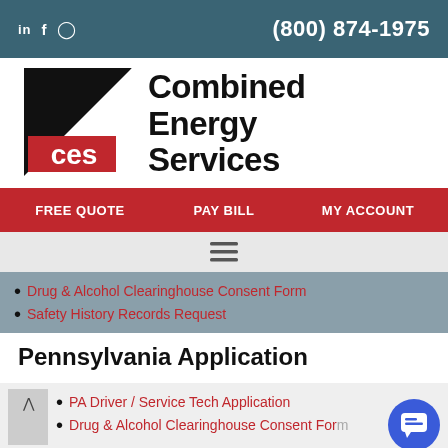in f © (800) 874-1975
[Figure (logo): Combined Energy Services logo with CES monogram and black triangle graphic]
Combined Energy Services
FREE QUOTE  PAY BILL  MY ACCOUNT
[Figure (other): Hamburger/menu icon (three horizontal lines)]
Drug & Alcohol Clearinghouse Consent Form
Safety History Records Request
Pennsylvania Application
PA Driver / Service Tech Application
Drug & Alcohol Clearinghouse Consent Form